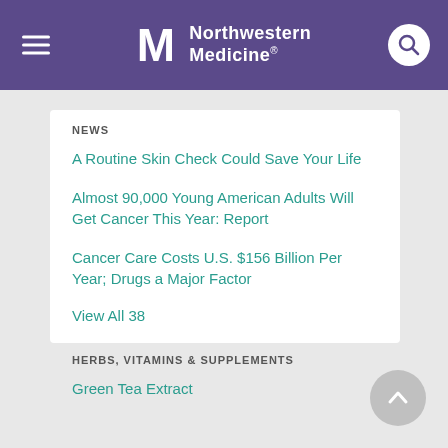Northwestern Medicine
NEWS
A Routine Skin Check Could Save Your Life
Almost 90,000 Young American Adults Will Get Cancer This Year: Report
Cancer Care Costs U.S. $156 Billion Per Year; Drugs a Major Factor
View All 38
HERBS, VITAMINS & SUPPLEMENTS
Green Tea Extract